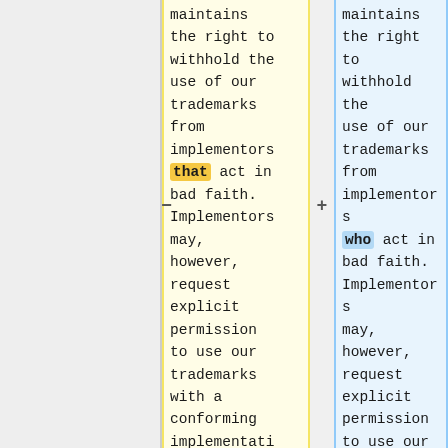maintains the right to withhold the use of our trademarks from implementors that act in bad faith. Implementors may, however, request explicit permission to use our trademarks with a conforming implementation.
maintains the right to withhold the use of our trademarks from implementors who act in bad faith. Implementors may, however, request explicit permission to use our trademarks with a conforming implementation.'''